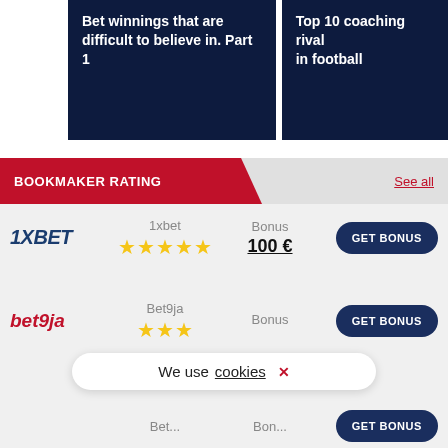[Figure (screenshot): Dark navy card with white bold text: 'Bet winnings that are difficult to believe in. Part 1']
[Figure (screenshot): Dark navy card with white bold text: 'Top 10 coaching rivals in football' (partially cropped)]
BOOKMAKER RATING
See all
[Figure (logo): 1XBET logo in dark blue italic bold]
1xbet
★★★★★
Bonus
100 €
GET BONUS
[Figure (logo): bet9ja logo in red italic bold]
Bet9ja
★★★
Bonus
We use cookies ✕